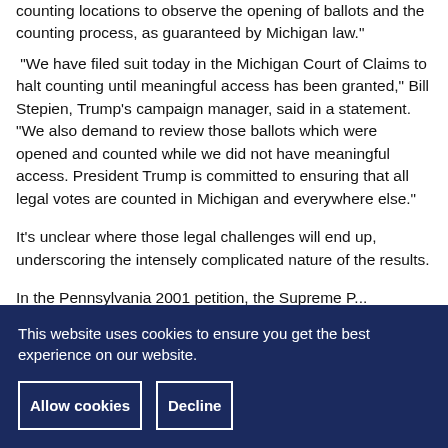counting ballots, arguing that it was denied access to numerous counting locations to observe the opening of ballots and the counting process, as guaranteed by Michigan law."
 "We have filed suit today in the Michigan Court of Claims to halt counting until meaningful access has been granted," Bill Stepien, Trump's campaign manager, said in a statement. "We also demand to review those ballots which were opened and counted while we did not have meaningful access. President Trump is committed to ensuring that all legal votes are counted in Michigan and everywhere else."
It's unclear where those legal challenges will end up, underscoring the intensely complicated nature of the results.
In the Pennsylvania 2001 petition, the Supreme Court...
This website uses cookies to ensure you get the best experience on our website.